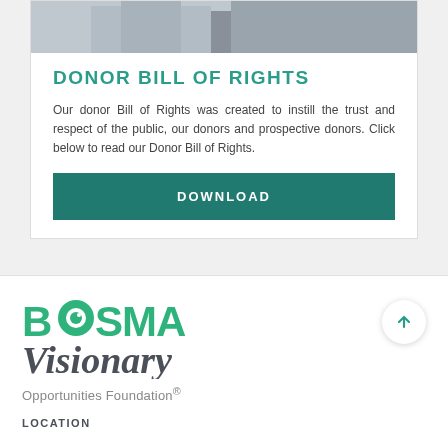[Figure (photo): Cropped photo of person in grey suit shaking hands]
DONOR BILL OF RIGHTS
Our donor Bill of Rights was created to instill the trust and respect of the public, our donors and prospective donors. Click below to read our Donor Bill of Rights.
DOWNLOAD
[Figure (logo): BoSMA Visionary Opportunities Foundation logo with green text and eye icon]
LOCATION